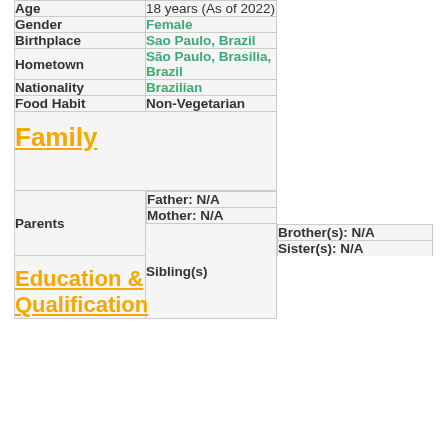| Field | Value |
| --- | --- |
| Age | 18 years (As of 2022) |
| Gender | Female |
| Birthplace | Sao Paulo, Brazil |
| Hometown | São Paulo, Brasilia, Brazil |
| Nationality | Brazilian |
| Food Habit | Non-Vegetarian |
| Family |  |
| Parents | Father: N/A | Mother: N/A |
| Sibling(s) | Brother(s): N/A | Sister(s): N/A |
| Education & Qualification |  |